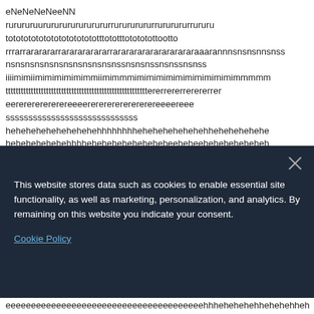eNeNeNeNeeNN
rurururuurururururururururrurururururrururururrururu
tototototototototototototttototttotototottootto
rrrarrararararrararararararrararararararararararaaarannnsnsnsnnsnss
nsnsnsnsnsnsnsnsnsnsnsnssnsnsnssnsnssnsnss
iiiimimiimimimimimimmiimimmmimimimimimimimimimimimmmmm
ttttttttttttttttttttttttttttttttttttttttttttttttttttttttererrererrerererrer
eererererererereeeererererererererereeeereee
sssssssssssssssssssssssssssss
hehehehehehehehehehhhhhhhhehehehehehehehhehehehehehe
hehehehehehehhhheheheheheheheheheeheheeheheheheheheh
[Figure (screenshot): Cookie consent overlay with dark navy background, close X button, cookie policy text, and Cookie Policy link]
eeeeeeeeeeeeeeeeeeeeeeeeeeeeeeeeeeeeeeehhhehehehehhehehehheh